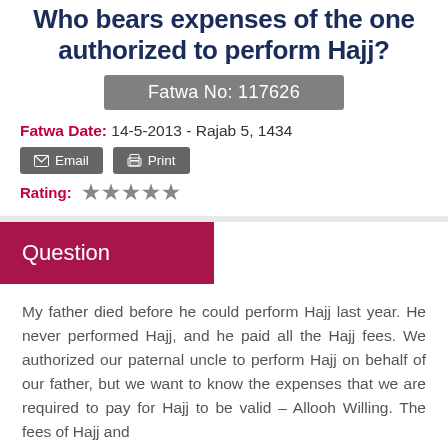Who bears expenses of the one authorized to perform Hajj?
Fatwa No: 117626
Fatwa Date: 14-5-2013 - Rajab 5, 1434
Email   Print
Rating: ★★★★★
Question
My father died before he could perform Hajj last year. He never performed Hajj, and he paid all the Hajj fees. We authorized our paternal uncle to perform Hajj on behalf of our father, but we want to know the expenses that we are required to pay for Hajj to be valid – Allooh Willing. The fees of Hajj and